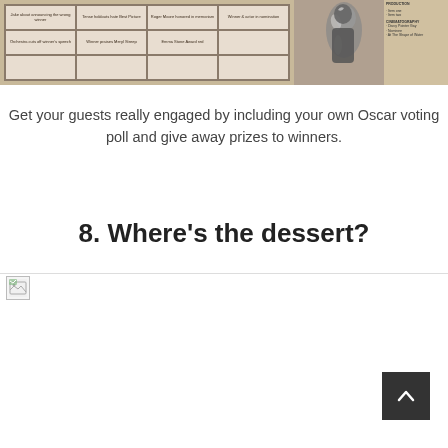[Figure (photo): Photo of an Oscar bingo card with small text cells, and a shiny Oscar statuette partially visible on the right side. Text '2018' visible at top.]
Get your guests really engaged by including your own Oscar voting poll and give away prizes to winners.
8. Where's the dessert?
[Figure (photo): Broken image placeholder icon (image failed to load)]